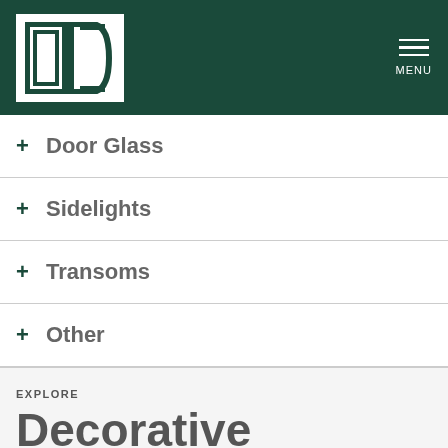[Figure (logo): ODL logo — white box with dark teal ODL lettering, on dark teal header background with MENU hamburger button]
+ Door Glass
+ Sidelights
+ Transoms
+ Other
EXPLORE
Decorative